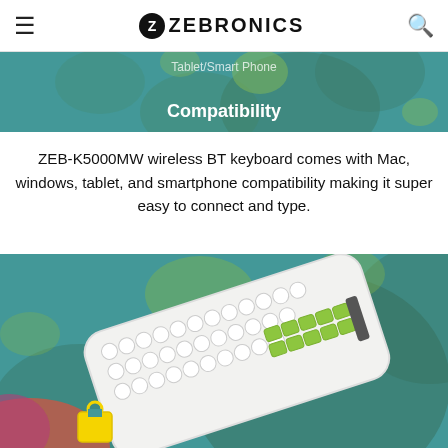ZEBRONICS
[Figure (screenshot): Teal banner with decorative blobs showing partial text 'Tablet/Smart Phone Compatibility']
ZEB-K5000MW wireless BT keyboard comes with Mac, windows, tablet, and smartphone compatibility making it super easy to connect and type.
[Figure (photo): White Zebronics wireless Bluetooth keyboard with round keys, green accent keys, and a phone holder, displayed on a teal background with colorful blob decorations and a yellow bag icon at the bottom.]